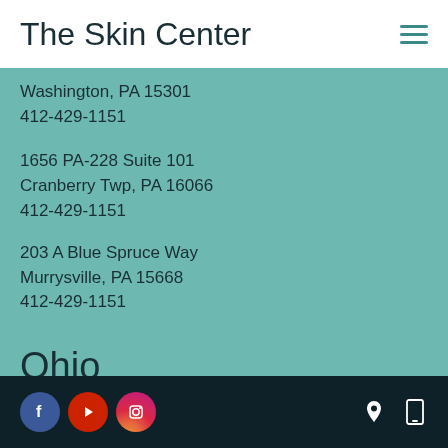The Skin Center
Washington, PA 15301
412-429-1151
1656 PA-228 Suite 101
Cranberry Twp, PA 16066
412-429-1151
203 A Blue Spruce Way
Murrysville, PA 15668
412-429-1151
Ohio
Social icons: Facebook, YouTube, Instagram; Utility icons: location, mobile